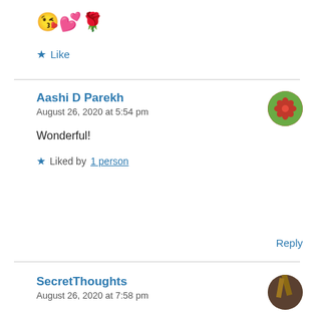😘💕🌹
★ Like
Aashi D Parekh
August 26, 2020 at 5:54 pm
Wonderful!
★ Liked by 1 person
Reply
SecretThoughts
August 26, 2020 at 7:58 pm